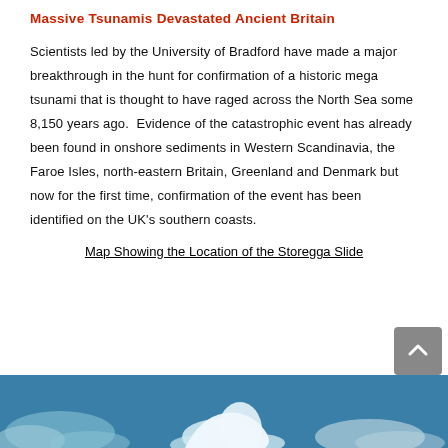Massive Tsunamis Devastated Ancient Britain
Scientists led by the University of Bradford have made a major breakthrough in the hunt for confirmation of a historic mega tsunami that is thought to have raged across the North Sea some 8,150 years ago.  Evidence of the catastrophic event has already been found in onshore sediments in Western Scandinavia, the Faroe Isles, north-eastern Britain, Greenland and Denmark but now for the first time, confirmation of the event has been identified on the UK's southern coasts.
Map Showing the Location of the Storegga Slide
[Figure (map): Partial view of a map showing the location of the Storegga Slide, with blue ocean background and white/light-colored landmass features visible at the bottom of the page.]